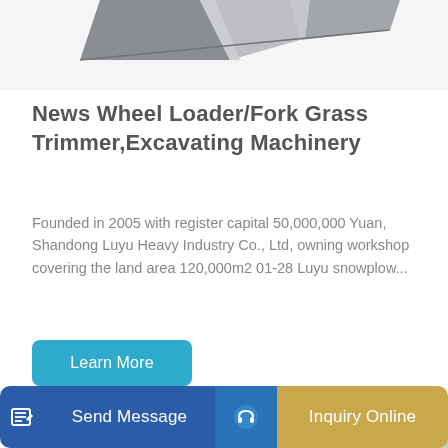[Figure (photo): Partial view of a gray metal machine part or attachment (top crop of wheel loader/excavating machinery accessory)]
News Wheel Loader/Fork Grass Trimmer,Excavating Machinery
Founded in 2005 with register capital 50,000,000 Yuan, Shandong Luyu Heavy Industry Co., Ltd, owning workshop covering the land area 120,000m2 01-28 Luyu snowplow...
[Figure (photo): Yellow and black wheel loader construction machine photographed from the side, partially cropped at bottom of page]
Send Message | Inquiry Online